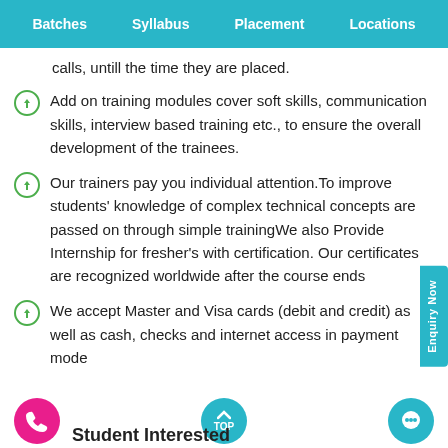Batches  Syllabus  Placement  Locations
calls, untill the time they are placed.
Add on training modules cover soft skills, communication skills, interview based training etc., to ensure the overall development of the trainees.
Our trainers pay you individual attention.To improve students' knowledge of complex technical concepts are passed on through simple trainingWe also Provide Internship for fresher's with certification. Our certificates are recognized worldwide after the course ends
We accept Master and Visa cards (debit and credit) as well as cash, checks and internet access in payment mode
Student Interested